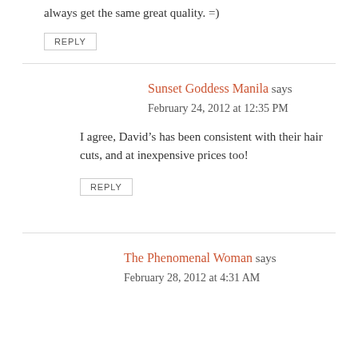always get the same great quality. =)
REPLY
Sunset Goddess Manila says
February 24, 2012 at 12:35 PM
I agree, David’s has been consistent with their hair cuts, and at inexpensive prices too!
REPLY
The Phenomenal Woman says
February 28, 2012 at 4:31 AM